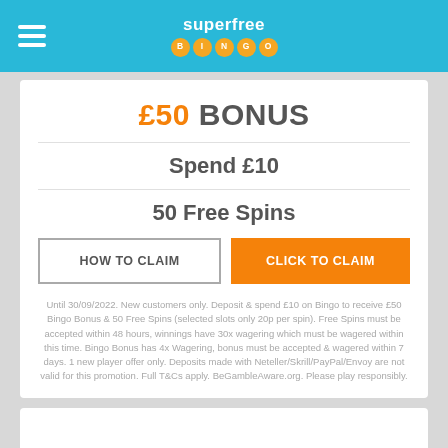superfree BINGO
£50 BONUS
Spend £10
50 Free Spins
HOW TO CLAIM
CLICK TO CLAIM
Until 30/09/2022. New customers only. Deposit & spend £10 on Bingo to receive £50 Bingo Bonus & 50 Free Spins (selected slots only 20p per spin). Free Spins must be accepted within 48 hours, winnings have 30x wagering which must be wagered within this time. Bingo Bonus has 4x Wagering, bonus must be accepted & wagered within 7 days. 1 new player offer only. Deposits made with Neteller/Skrill/PayPal/Envoy are not valid for this promotion. Full T&Cs apply. BeGambleAware.org. Please play responsibly.